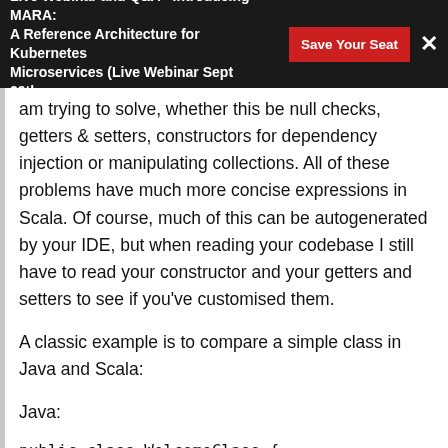Live Webinar and Q&A - Introducing MARA: A Reference Architecture for Kubernetes Microservices (Live Webinar Sept 29th,...
am trying to solve, whether this be null checks, getters & setters, constructors for dependency injection or manipulating collections. All of these problems have much more concise expressions in Scala. Of course, much of this can be autogenerated by your IDE, but when reading your codebase I still have to read your constructor and your getters and setters to see if you've customised them.
A classic example is to compare a simple class in Java and Scala:
Java:
public class WelcomeClass {